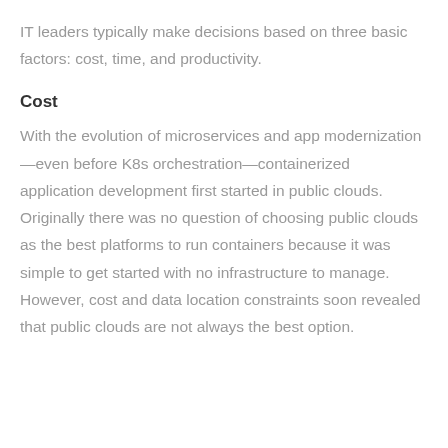IT leaders typically make decisions based on three basic factors: cost, time, and productivity.
Cost
With the evolution of microservices and app modernization—even before K8s orchestration—containerized application development first started in public clouds. Originally there was no question of choosing public clouds as the best platforms to run containers because it was simple to get started with no infrastructure to manage. However, cost and data location constraints soon revealed that public clouds are not always the best option.